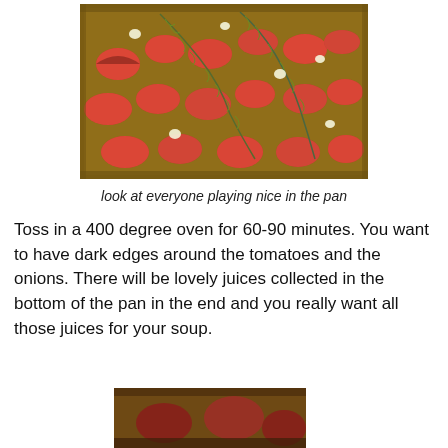[Figure (photo): A baking pan filled with halved tomatoes, fresh herb sprigs (dill or fennel), and garlic cloves arranged across the pan, ready for roasting.]
look at everyone playing nice in the pan
Toss in a 400 degree oven for 60-90 minutes. You want to have dark edges around the tomatoes and the onions. There will be lovely juices collected in the bottom of the pan in the end and you really want all those juices for your soup.
[Figure (photo): A close-up of roasted tomatoes in a dark baking pan, partially visible at the bottom of the page.]